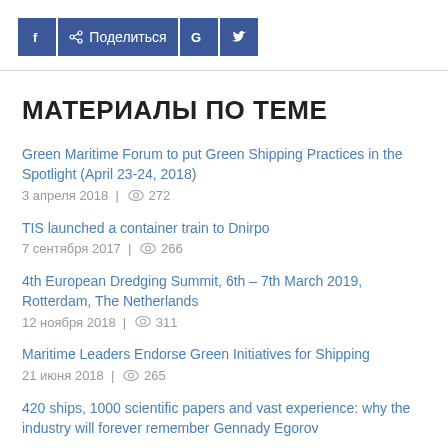[Figure (other): Social share buttons: Facebook icon, Поделиться (Share) button, Google+ icon, Twitter icon]
МАТЕРИАЛЫ ПО ТЕМЕ
Green Maritime Forum to put Green Shipping Practices in the Spotlight (April 23-24, 2018)
3 апреля 2018 | 👁 272
TIS launched a container train to Dnirpo
7 сентября 2017 | 👁 266
4th European Dredging Summit, 6th – 7th March 2019, Rotterdam, The Netherlands
12 ноября 2018 | 👁 311
Maritime Leaders Endorse Green Initiatives for Shipping
21 июня 2018 | 👁 265
420 ships, 1000 scientific papers and vast experience: why the industry will forever remember Gennady Egorov